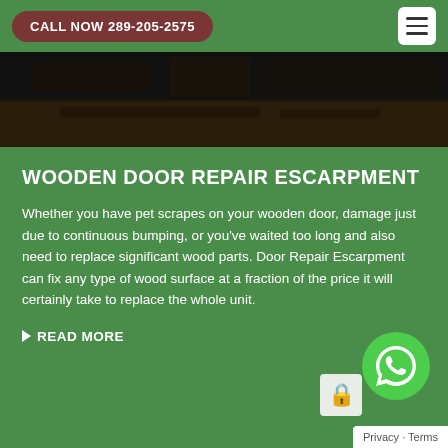CALL NOW 289-205-2575
[Figure (photo): Close-up photo of a dark wooden door showing damage/wear on the surface, dark browns and blacks]
WOODEN DOOR REPAIR ESCARPMENT
Whether you have pet scrapes on your wooden door, damage just due to continuous bumping, or you've waited too long and also need to replace significant wood parts. Door Repair Escarpment can fix any type of wood surface at a fraction of the price it will certainly take to replace the whole unit.
READ MORE
[Figure (logo): Green circle WhatsApp phone icon button]
Privacy · Terms